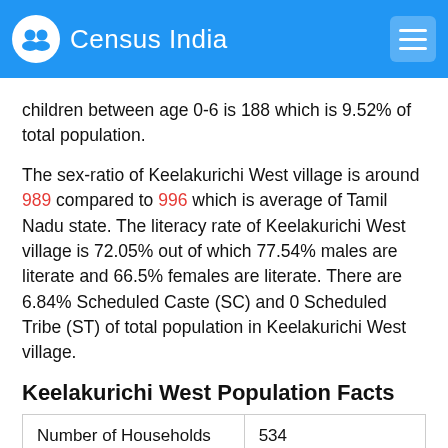Census India
children between age 0-6 is 188 which is 9.52% of total population.
The sex-ratio of Keelakurichi West village is around 989 compared to 996 which is average of Tamil Nadu state. The literacy rate of Keelakurichi West village is 72.05% out of which 77.54% males are literate and 66.5% females are literate. There are 6.84% Scheduled Caste (SC) and 0 Scheduled Tribe (ST) of total population in Keelakurichi West village.
Keelakurichi West Population Facts
| Number of Households | 534 |
| Population | 1975 |
| Male Population | 993 (50.28%) |